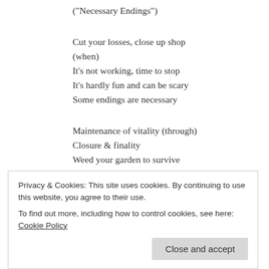("Necessary Endings")
Cut your losses, close up shop
(when)
It's not working, time to stop
It's hardly fun and can be scary
Some endings are necessary
Maintenance of vitality (through)
Closure & finality
Weed your garden to survive
(makes)
What's desired grow and thrive
Clear up space inside your head
Privacy & Cookies: This site uses cookies. By continuing to use this website, you agree to their use.
To find out more, including how to control cookies, see here: Cookie Policy
Close and accept